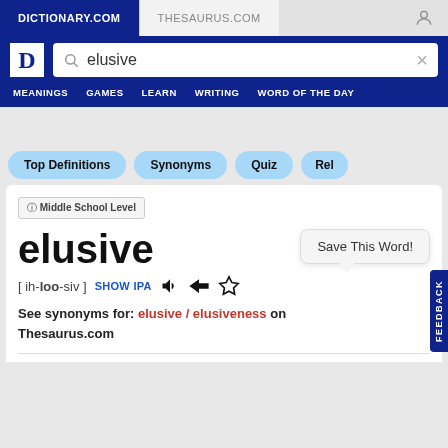DICTIONARY.COM | THESAURUS.COM
[Figure (screenshot): Dictionary.com website header with search bar containing 'elusive', navigation menu with MEANINGS, GAMES, LEARN, WRITING, WORD OF THE DAY]
Top Definitions   Synonyms   Quiz   Rel
🛈 Middle School Level
elusive
[ ih-loo-siv ]  SHOW IPA
Save This Word!
See synonyms for: elusive / elusiveness on Thesaurus.com